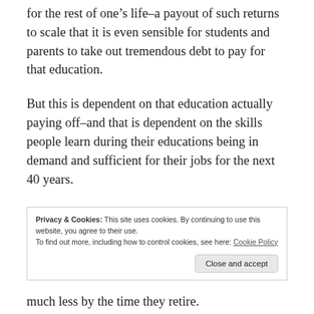for the rest of one's life–a payout of such returns to scale that it is even sensible for students and parents to take out tremendous debt to pay for that education.
But this is dependent on that education actually paying off–and that is dependent on the skills people learn during their educations being in demand and sufficient for their jobs for the next 40 years.
The system falls apart if technology advances
Privacy & Cookies: This site uses cookies. By continuing to use this website, you agree to their use.
To find out more, including how to control cookies, see here: Cookie Policy
Close and accept
much less by the time they retire.